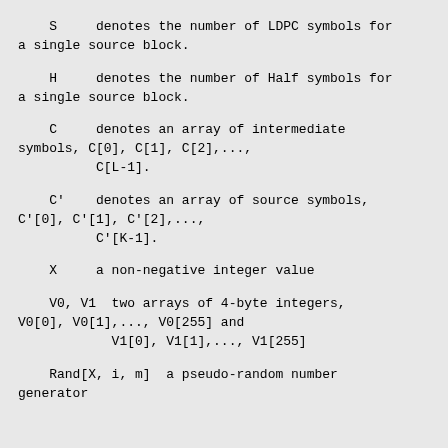S     denotes the number of LDPC symbols for a single source block.
H     denotes the number of Half symbols for a single source block.
C     denotes an array of intermediate symbols, C[0], C[1], C[2],..., C[L-1].
C'    denotes an array of source symbols, C'[0], C'[1], C'[2],..., C'[K-1].
X     a non-negative integer value
V0, V1  two arrays of 4-byte integers, V0[0], V0[1],..., V0[255] and V1[0], V1[1],..., V1[255]
Rand[X, i, m]  a pseudo-random number generator